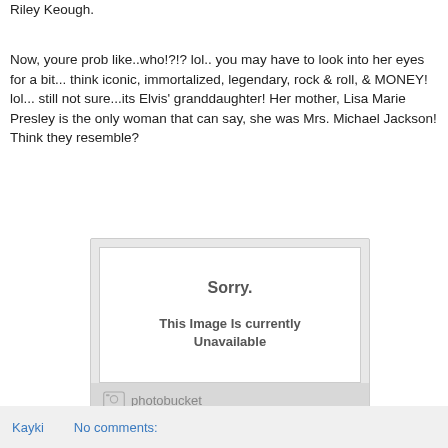Riley Keough.
Now, youre prob like..who!?!? lol.. you may have to look into her eyes for a bit... think iconic, immortalized, legendary, rock & roll, & MONEY! lol... still not sure...its Elvis' granddaughter! Her mother, Lisa Marie Presley is the only woman that can say, she was Mrs. Michael Jackson! Think they resemble?
[Figure (other): Photobucket placeholder image showing 'Sorry. This Image Is currently Unavailable' with Photobucket logo at bottom]
Kayki   No comments: